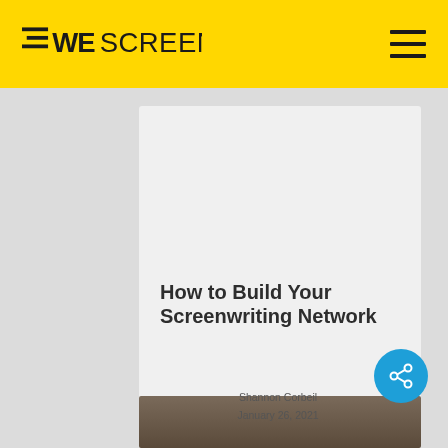WE SCREENPLAY
How to Build Your Screenwriting Network
Shannon Corbeil
January 26, 2021
[Figure (photo): Bottom strip photo, partially visible interior/office scene]